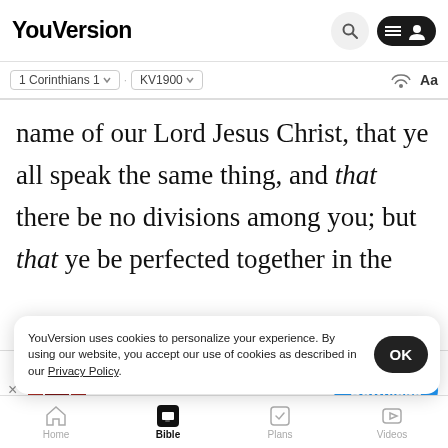YouVersion
1 Corinthians 1  |  KV1900  |  Aa
name of our Lord Jesus Christ, that ye all speak the same thing, and that there be no divisions among you; but that ye be perfected together in the
[Figure (screenshot): App store banner for The Bible App with red Holy Bible icon, 5 gold stars, 7.9M rating, and blue Download button]
b  en  by them which are of the househol
Chloe,
12 Now this I mean, that each one of you saith, I
YouVersion uses cookies to personalize your experience. By using our website, you accept our use of cookies as described in our Privacy Policy.
Home  Bible  Plans  Videos